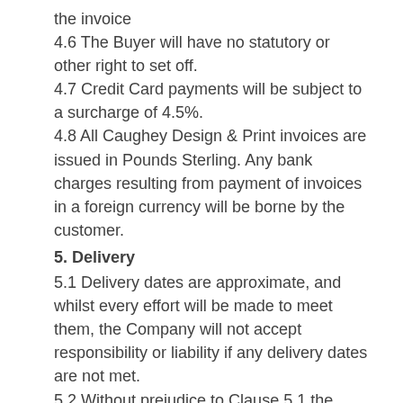the invoice
4.6 The Buyer will have no statutory or other right to set off.
4.7 Credit Card payments will be subject to a surcharge of 4.5%.
4.8 All Caughey Design & Print invoices are issued in Pounds Sterling. Any bank charges resulting from payment of invoices in a foreign currency will be borne by the customer.
5. Delivery
5.1 Delivery dates are approximate, and whilst every effort will be made to meet them, the Company will not accept responsibility or liability if any delivery dates are not met.
5.2 Without prejudice to Clause 5.1 the Company will not be liable for any delay in delivery or non-delivery of Goods or Services caused by any circumstances beyond the Company's control including without limitation, any Act of God, explosion, fire, flood, war, hostilities, accident, delay in delivery or non-delivery by the Company's suppliers, breakdowns or accidents to machinery, labour strike or dispute, order or decree of any court or action of any